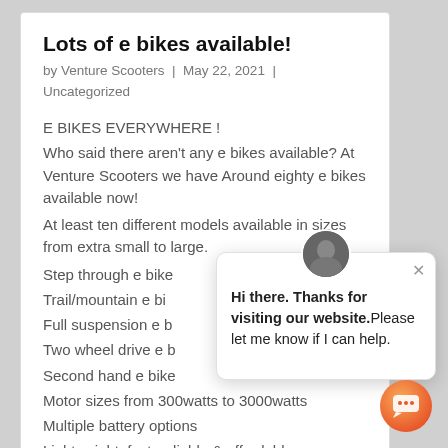Lots of e bikes available!
by Venture Scooters | May 22, 2021 | Uncategorized
E BIKES EVERYWHERE !
Who said there aren't any e bikes available? At Venture Scooters we have Around eighty e bikes available now!
At least ten different models available in sizes from extra small to large.
Step through e bike
Trail/mountain e bi
Full suspension e b
Two wheel drive e b
Second hand e bike
Motor sizes from 300watts to 3000watts
Multiple battery options
Lightweight, fast, reliable & affordable
$2500-$4000
[Figure (other): Chat widget overlay with avatar photo, close button (×), and message: Hi there. Thanks for visiting our website.Please let me know if I can help. With orange chat bubble button in bottom-right corner.]